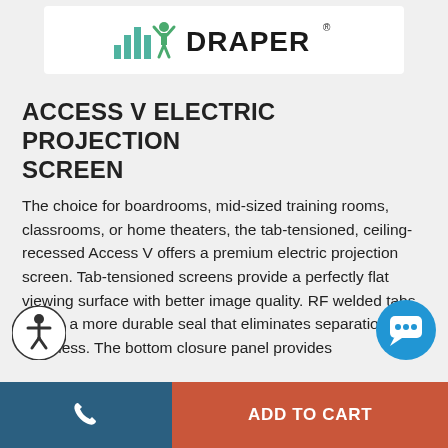[Figure (logo): Draper brand logo with stylized antenna/graph icon in teal/green and black text]
ACCESS V ELECTRIC PROJECTION SCREEN
The choice for boardrooms, mid-sized training rooms, classrooms, or home theaters, the tab-tensioned, ceiling-recessed Access V offers a premium electric projection screen. Tab-tensioned screens provide a perfectly flat viewing surface with better image quality. RF welded tabs create a more durable seal that eliminates separation and waviness. The bottom closure panel provides